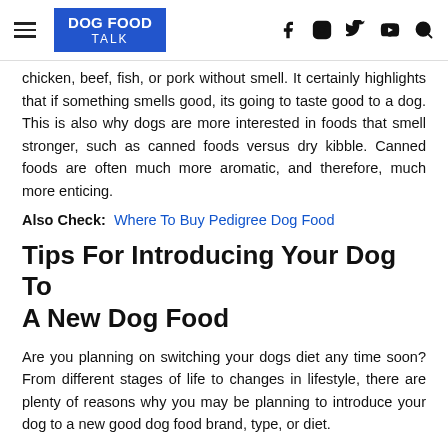DOG FOOD TALK
chicken, beef, fish, or pork without smell. It certainly highlights that if something smells good, its going to taste good to a dog. This is also why dogs are more interested in foods that smell stronger, such as canned foods versus dry kibble. Canned foods are often much more aromatic, and therefore, much more enticing.
Also Check: Where To Buy Pedigree Dog Food
Tips For Introducing Your Dog To A New Dog Food
Are you planning on switching your dogs diet any time soon? From different stages of life to changes in lifestyle, there are plenty of reasons why you may be planning to introduce your dog to a new good dog food brand, type, or diet.